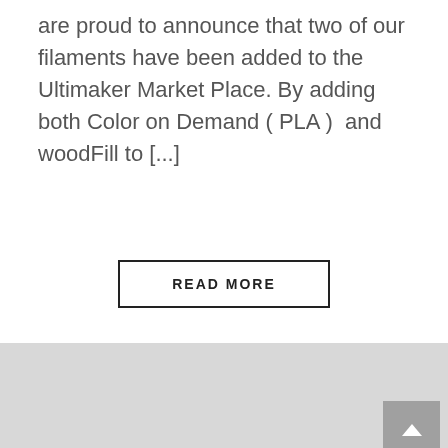are proud to announce that two of our filaments have been added to the Ultimaker Market Place. By adding both Color on Demand ( PLA ) and woodFill to [...]
READ MORE
[Figure (map): A light gray map area with two control buttons on the right side: an upward arrow button and an envelope/mail button.]